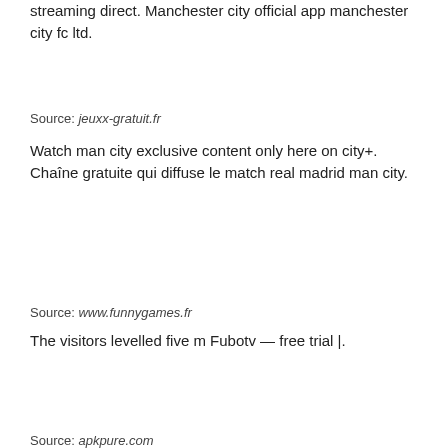streaming direct. Manchester city official app manchester city fc ltd.
Source: jeuxx-gratuit.fr
Watch man city exclusive content only here on city+. Chaîne gratuite qui diffuse le match real madrid man city.
Source: www.funnygames.fr
The visitors levelled five m Fubotv — free trial |.
Source: apkpure.com